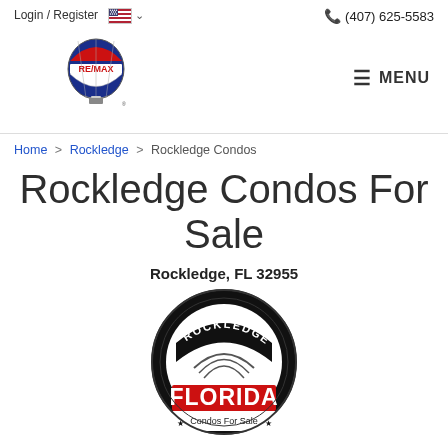Login / Register   (407) 625-5583
[Figure (logo): RE/MAX hot air balloon logo in red, white, and blue]
MENU
Home > Rockledge > Rockledge Condos
Rockledge Condos For Sale
Rockledge, FL 32955
[Figure (logo): Rockledge Florida Condos For Sale circular badge logo with black background, red FLORIDA text, stars, and decorative arch]